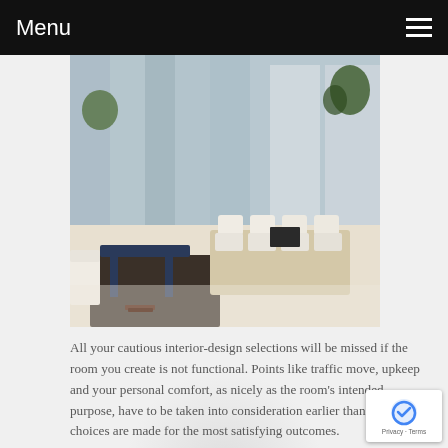Menu
[Figure (photo): Interior design photo showing a modern office/meeting room with white leather chairs, a beige conference table, blue accent table on the left, and large windows with curtains in the background.]
All your cautious interior-design selections will be missed if the room you create is not functional. Points like traffic move, upkeep and your personal comfort, as nicely as the room's intended purpose, have to be taken into consideration earlier than any design choices are made for the most satisfying outcomes.
If your property does not have an abundance of natural mild, you may want to consider repainting your walls significantly if they are dark. Darkish colours are known to absorb mild whereas brighter and lighter colours